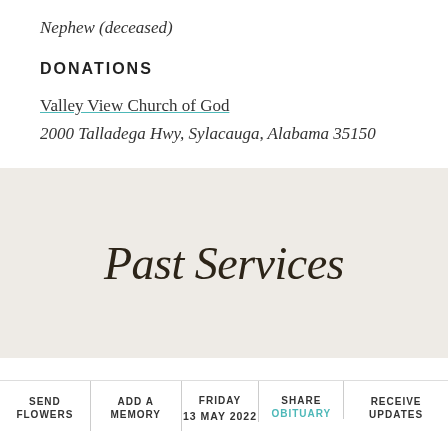Nephew (deceased)
DONATIONS
Valley View Church of God
2000 Talladega Hwy, Sylacauga, Alabama 35150
Past Services
SEND FLOWERS | ADD A MEMORY | FRIDAY 13 MAY 2022 | SHARE OBITUARY | RECEIVE UPDATES